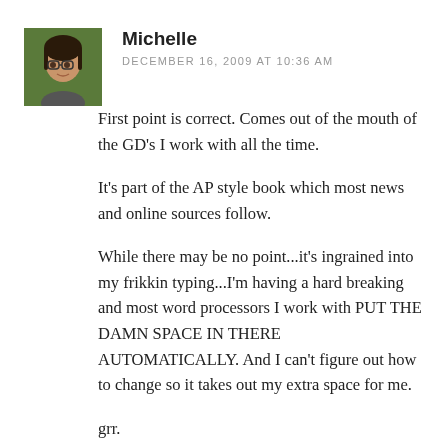[Figure (photo): Avatar photo of Michelle, a woman with glasses and dark hair, with a green background]
Michelle
DECEMBER 16, 2009 AT 10:36 AM
First point is correct. Comes out of the mouth of the GD's I work with all the time.
It's part of the AP style book which most news and online sources follow.
While there may be no point...it's ingrained into my frikkin typing...I'm having a hard breaking and most word processors I work with PUT THE DAMN SPACE IN THERE AUTOMATICALLY. And I can't figure out how to change so it takes out my extra space for me.
grr.
And as a web designer...that's not totally true.